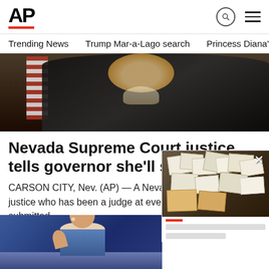AP
Trending News   Trump Mar-a-Lago search   Princess Diana's dea
[Figure (photo): Photo of a female judge in black robes with an American flag in the background]
Nevada Supreme Court justice tells governor she'll step down
CARSON CITY, Nev. (AP) — A Nevada Supreme Court justice who has been a judge at every level in the state has submitted …
AP  2 days ago
content
[Figure (illustration): Illustrated character animation at bottom left]
[Figure (photo): Popup overlay showing documents/papers laid out on a dark surface, with a close button X]